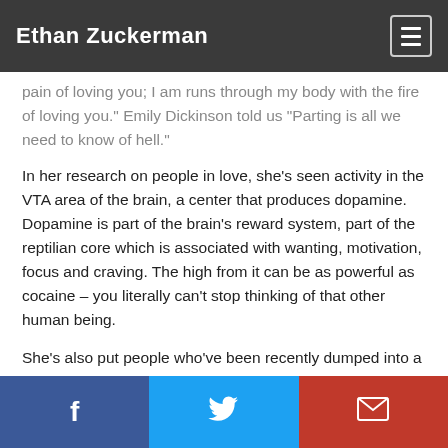Ethan Zuckerman
pain of loving you; I am runs through my body with the fire of loving you.” Emily Dickinson told us “Parting is all we need to know of hell.”
In her research on people in love, she’s seen activity in the VTA area of the brain, a center that produces dopamine. Dopamine is part of the brain’s reward system, part of the reptilian core which is associated with wanting, motivation, focus and craving. The high from it can be as powerful as cocaine – you literally can’t stop thinking of that other human being.
She’s also put people who’ve been recently dumped into a functional MRI – “it’s hard to do – some of them are a real
f    ✉